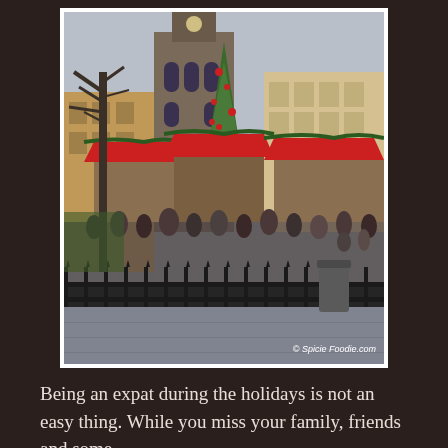[Figure (photo): A Christmas market in Prague's Old Town Square with red-roofed stalls decorated with garlands, crowds of people, a decorated Christmas tree, a Gothic church tower in the background, bare trees, and an ornate iron fence in the foreground. Watermark reads '© Spicie Foodie.com'.]
Being an expat during the holidays is not an easy thing. While you miss your family, friends and some